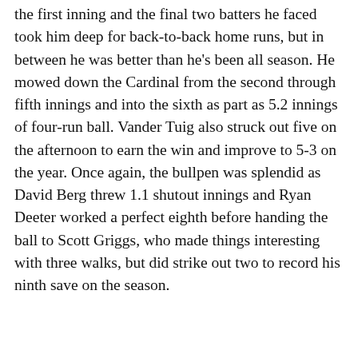the first inning and the final two batters he faced took him deep for back-to-back home runs, but in between he was better than he's been all season. He mowed down the Cardinal from the second through fifth innings and into the sixth as part as 5.2 innings of four-run ball. Vander Tuig also struck out five on the afternoon to earn the win and improve to 5-3 on the year. Once again, the bullpen was splendid as David Berg threw 1.1 shutout innings and Ryan Deeter worked a perfect eighth before handing the ball to Scott Griggs, who made things interesting with three walks, but did strike out two to record his ninth save on the season.